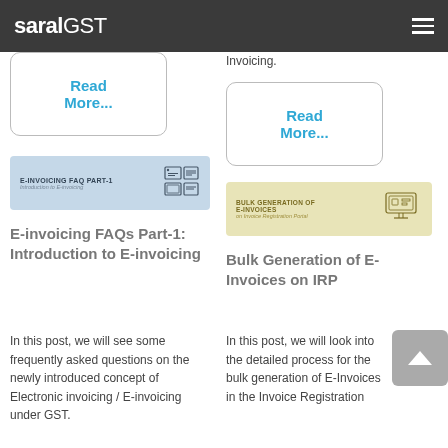saralGST
Invoicing.
Read More...
Read More...
[Figure (screenshot): E-INVOICING FAQ PART-1 thumbnail with Introduction to E-invoicing subtitle and icons]
[Figure (screenshot): BULK GENERATION OF E-INVOICES on Invoice Registration Portal thumbnail with monitor icon]
E-invoicing FAQs Part-1: Introduction to E-invoicing
In this post, we will see some frequently asked questions on the newly introduced concept of Electronic invoicing / E-invoicing under GST.
Bulk Generation of E-Invoices on IRP
In this post, we will look into the detailed process for the bulk generation of E-Invoices in the Invoice Registration